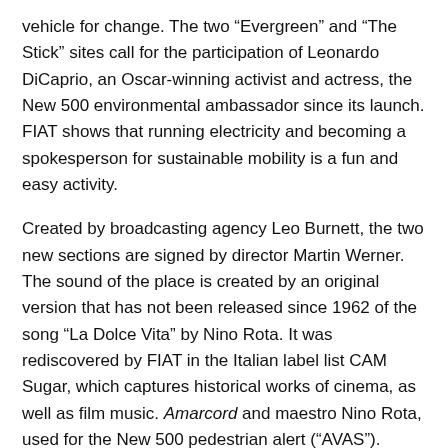vehicle for change. The two “Evergreen” and “The Stick” sites call for the participation of Leonardo DiCaprio, an Oscar-winning activist and actress, the New 500 environmental ambassador since its launch. FIAT shows that running electricity and becoming a spokesperson for sustainable mobility is a fun and easy activity.
Created by broadcasting agency Leo Burnett, the two new sections are signed by director Martin Werner. The sound of the place is created by an original version that has not been released since 1962 of the song “La Dolce Vita” by Nino Rota. It was rediscovered by FIAT in the Italian label list CAM Sugar, which captures historical works of cinema, as well as film music. Amarcord and maestro Nino Rota, used for the New 500 pedestrian alert (“AVAS”).
* Internal FIAT estimates for the first half of 2022